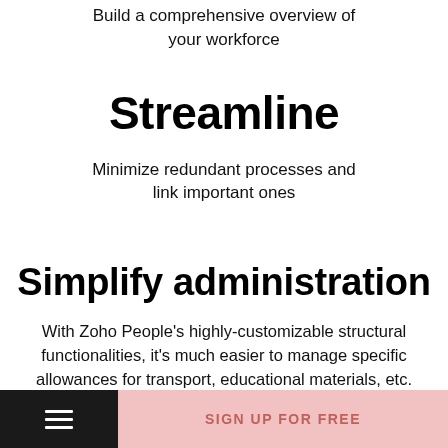Build a comprehensive overview of your workforce
Streamline
Minimize redundant processes and link important ones
Simplify administration
With Zoho People's highly-customizable structural functionalities, it's much easier to manage specific allowances for transport, educational materials, etc.
SIGN UP FOR FREE